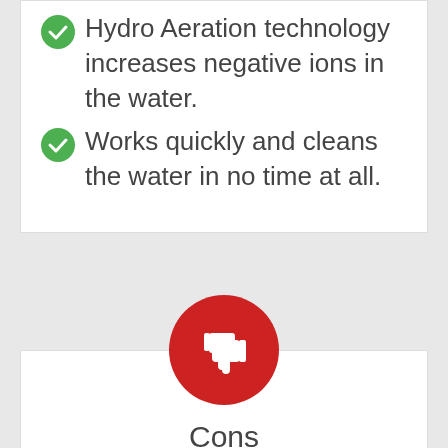Hydro Aeration technology increases negative ions in the water.
Works quickly and cleans the water in no time at all.
Cons
Does not come with